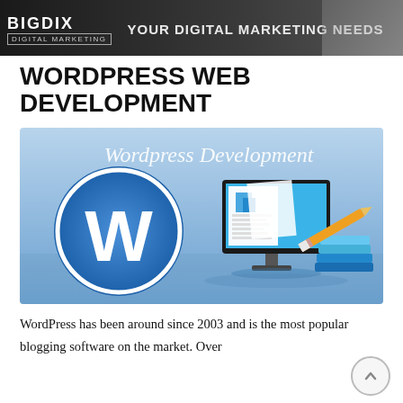BIGDIX Digital Marketing — Your Digital Marketing Needs
WORDPRESS WEB DEVELOPMENT
[Figure (illustration): WordPress Development banner image with WordPress logo (blue circle with W) on the left, and a computer monitor showing a web page layout with stacked books and a pencil on the right, on a blue gradient background with text 'Wordpress Development']
WordPress has been around since 2003 and is the most popular blogging software on the market. Over